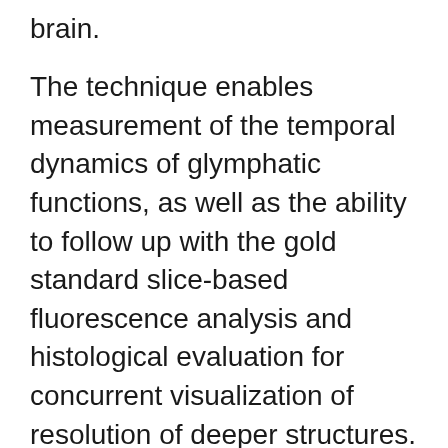brain.
The technique enables measurement of the temporal dynamics of glymphatic functions, as well as the ability to follow up with the gold standard slice-based fluorescence analysis and histological evaluation for concurrent visualization of resolution of deeper structures. This approach allows both dynamic and structural insights to be assessed in parallel. The technique works great for research involving mice, but not for larger animals like rats, due to the size of the imaging platform and the thicker skulls of larger rodents.